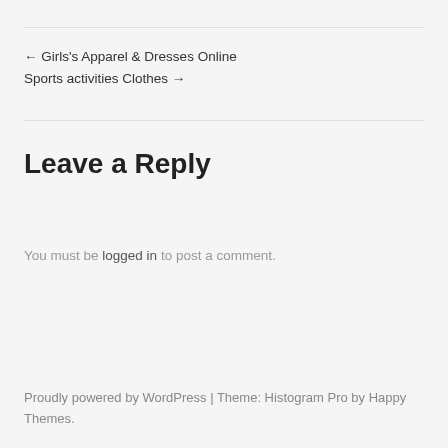← Girls's Apparel & Dresses Online
Sports activities Clothes →
Leave a Reply
You must be logged in to post a comment.
Proudly powered by WordPress | Theme: Histogram Pro by Happy Themes.